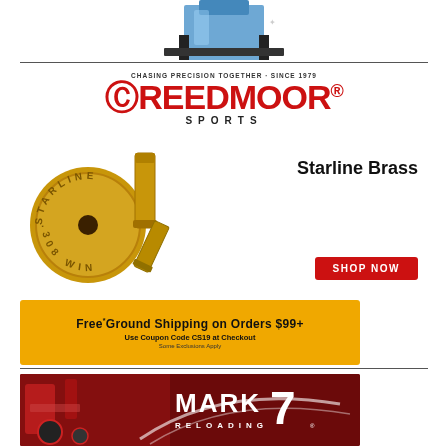[Figure (photo): Blue reloading press machine partially visible at top of page]
[Figure (photo): Creedmoor Sports advertisement featuring Starline Brass products. Shows brass bullet casings and primer. Text reads: CHASING PRECISION TOGETHER - SINCE 1979, CREEDMOOR SPORTS, Starline Brass, SHOP NOW button]
[Figure (infographic): Yellow banner ad: Free* Ground Shipping on Orders $99+ Use Coupon Code CS19 at Checkout Some Exclusions Apply]
[Figure (photo): Mark 7 Reloading advertisement showing red and black reloading machine with MARK 7 RELOADING logo]